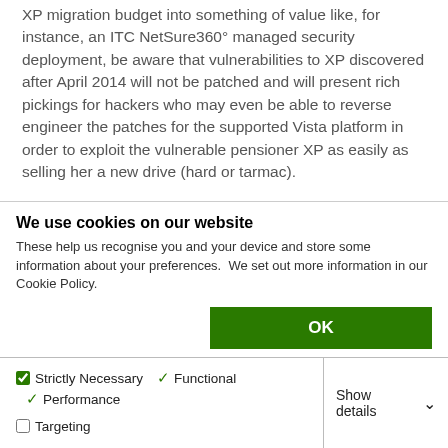XP migration budget into something of value like, for instance, an ITC NetSure360° managed security deployment, be aware that vulnerabilities to XP discovered after April 2014 will not be patched and will present rich pickings for hackers who may even be able to reverse engineer the patches for the supported Vista platform in order to exploit the vulnerable pensioner XP as easily as selling her a new drive (hard or tarmac).
So as the OSX, Android and Linux camps buy ringside seats for the forthcoming hackathon, we still urge you to migrate any XP machines you have as soon as possible.
Deploying an ITC NetSure360® managed security solution...
We use cookies on our website
These help us recognise you and your device and store some information about your preferences.  We set out more information in our Cookie Policy.
OK
Strictly Necessary   ✓ Functional   ✓ Performance   Targeting   Show details